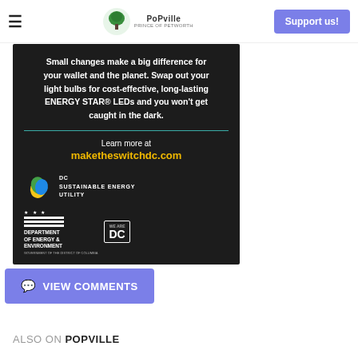≡  PoPville  Support us!
[Figure (infographic): DC Sustainable Energy Utility advertisement on dark background. Text reads: 'Small changes make a big difference for your wallet and the planet. Swap out your light bulbs for cost-effective, long-lasting ENERGY STAR® LEDs and you won't get caught in the dark.' Then 'Learn more at maketheswitchdc.com'. Shows DC Sustainable Energy Utility logo and Department of Energy & Environment / DC government logos.]
VIEW COMMENTS
ALSO ON POPVILLE